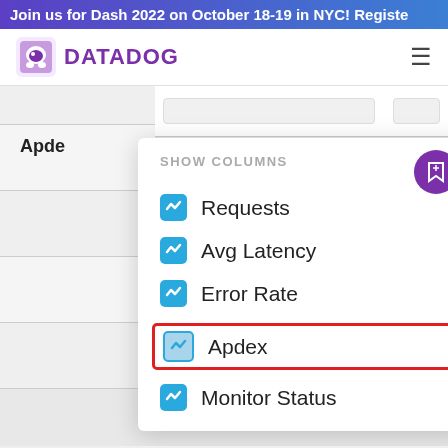Join us for Dash 2022 on October 18-19 in NYC! Register
[Figure (screenshot): Datadog logo in navbar with hamburger menu icon]
[Figure (screenshot): Datadog 'Show Columns' dropdown panel with checkboxes for Requests, Avg Latency, Error Rate, Apdex (highlighted with red border), and Monitor Status. All checkboxes are checked (blue). The Apdex row is highlighted with a red rectangle border.]